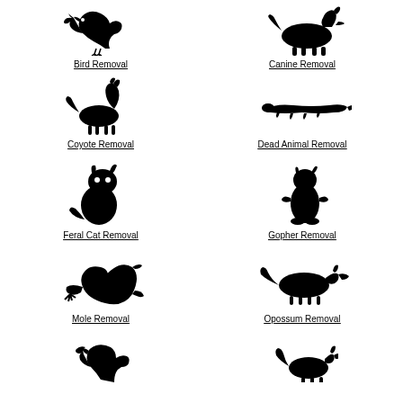[Figure (illustration): Black silhouette of a bird (songbird) perched on a branch]
Bird Removal
[Figure (illustration): Black silhouette of a German Shepherd dog walking]
Canine Removal
[Figure (illustration): Black silhouette of a coyote with head raised howling]
Coyote Removal
[Figure (illustration): Black silhouette of a dead animal (flat, decomposed)]
Dead Animal Removal
[Figure (illustration): Black silhouette of a sitting cat]
Feral Cat Removal
[Figure (illustration): Black silhouette of a gopher standing upright]
Gopher Removal
[Figure (illustration): Black silhouette of a mole with claws visible]
Mole Removal
[Figure (illustration): Black silhouette of an opossum walking]
Opossum Removal
[Figure (illustration): Black silhouette of a bird (partial, bottom cut off)]
[Figure (illustration): Black silhouette of a raccoon or similar animal (partial, bottom cut off)]